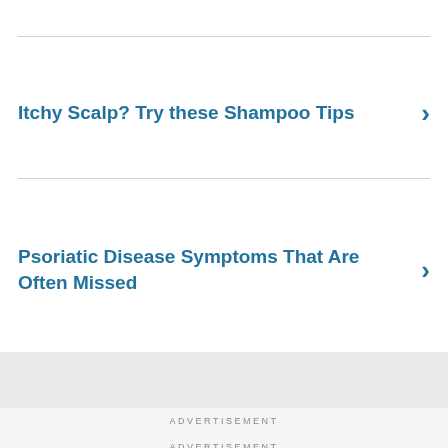Itchy Scalp? Try these Shampoo Tips
Psoriatic Disease Symptoms That Are Often Missed
ADVERTISEMENT
ADVERTISEMENT